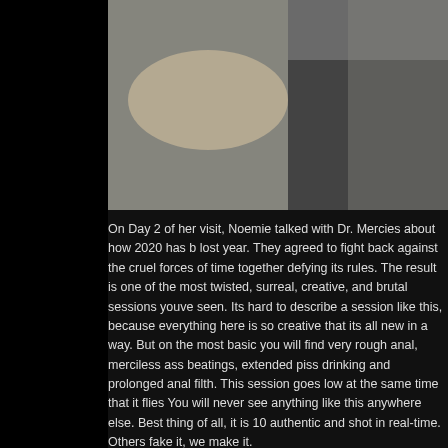[Figure (photo): Photograph cropped at top of page]
On Day 2 of her visit, Noemie talked with Dr. Mercies about how 2020 has b... lost year. They agreed to fight back against the cruel forces of time together... defying its rules. The result is one of the most twisted, surreal, creative, and... brutal sessions youve seen. Its hard to describe a session like this, because... everything here is so creative that its all new in a way. But on the most basic... you will find very rough anal, merciless ass beatings, extended piss drinking... and prolonged anal filth. This session goes low at the same time that it flies... You will never see anything like this anywhere else. Best thing of all, it is 10... authentic and shot in real-time. Others fake it, we make it.
Watch Now »
Tags: A2M, All Sex, Anal Sex, Bdsm, Bukkake, Cum in eye, ebony, Facial, Noemie B..., Pissing, rimjob
Leave A Comment »
S...d P... October 1, 2020: Anal Aft...